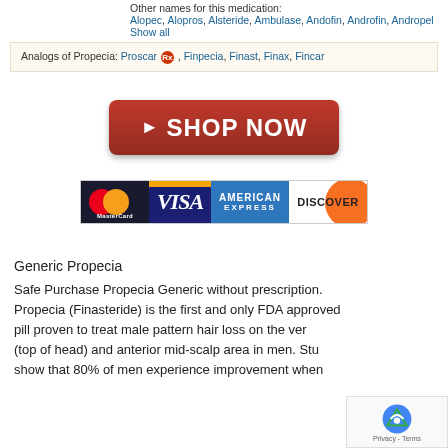Other names for this medication: Alopec, Alopros, Alsteride, Ambulase, Andofin, Androfin, Andropel ... Show all
Analogs of Propecia: Proscar, Finpecia, Finast, Finax, Fincar
[Figure (other): Red Shop Now button with play arrow icon]
[Figure (other): Payment icons: MasterCard, VISA, American Express, Discover]
Generic Propecia
Safe Purchase Propecia Generic without prescription. Propecia (Finasteride) is the first and only FDA approved pill proven to treat male pattern hair loss on the ver (top of head) and anterior mid-scalp area in men. Stu show that 80% of men experience improvement when